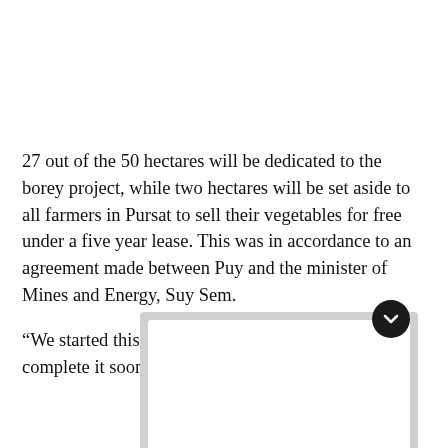27 out of the 50 hectares will be dedicated to the borey project, while two hectares will be set aside to all farmers in Pursat to sell their vegetables for free under a five year lease. This was in accordance to an agreement made between Puy and the minister of Mines and Energy, Suy Sem.
“We started this project in mid-2016, and hope to complete it soon,” Puy said.
[Figure (other): A card/panel UI element with a dark circular chevron-down button at the top right, suggesting expandable content below]